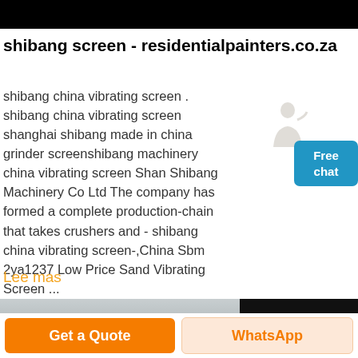shibang screen - residentialpainters.co.za
shibang china vibrating screen . shibang china vibrating screen shanghai shibang made in china grinder screenshibang machinery china vibrating screen Shanghai Shibang Machinery Co Ltd The company has formed a complete production-chain that takes crushers and - shibang china vibrating screen-,China Sbm 2ya1237 Low Price Sand Vibrating Screen ...
Lee mas
[Figure (photo): Industrial landscape photo (left) and dark panel with gold scroll-up button (right)]
Get a Quote | WhatsApp